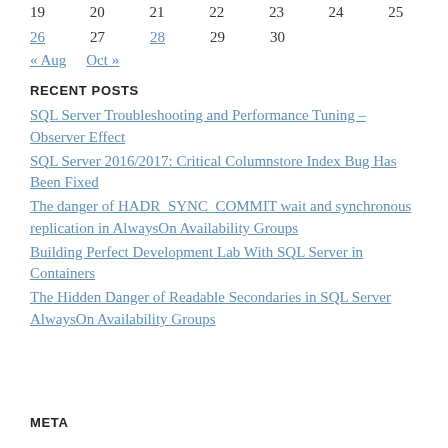| 19 | 20 | 21 | 22 | 23 | 24 | 25 |
| 26 | 27 | 28 | 29 | 30 |  |  |
« Aug   Oct »
RECENT POSTS
SQL Server Troubleshooting and Performance Tuning – Observer Effect
SQL Server 2016/2017: Critical Columnstore Index Bug Has Been Fixed
The danger of HADR_SYNC_COMMIT wait and synchronous replication in AlwaysOn Availability Groups
Building Perfect Development Lab With SQL Server in Containers
The Hidden Danger of Readable Secondaries in SQL Server AlwaysOn Availability Groups
META